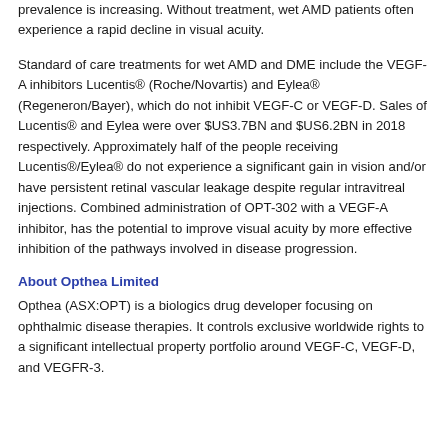prevalence is increasing. Without treatment, wet AMD patients often experience a rapid decline in visual acuity.
Standard of care treatments for wet AMD and DME include the VEGF-A inhibitors Lucentis® (Roche/Novartis) and Eylea® (Regeneron/Bayer), which do not inhibit VEGF-C or VEGF-D. Sales of Lucentis® and Eylea were over $US3.7BN and $US6.2BN in 2018 respectively. Approximately half of the people receiving Lucentis®/Eylea® do not experience a significant gain in vision and/or have persistent retinal vascular leakage despite regular intravitreal injections. Combined administration of OPT-302 with a VEGF-A inhibitor, has the potential to improve visual acuity by more effective inhibition of the pathways involved in disease progression.
About Opthea Limited
Opthea (ASX:OPT) is a biologics drug developer focusing on ophthalmic disease therapies. It controls exclusive worldwide rights to a significant intellectual property portfolio around VEGF-C, VEGF-D, and VEGFR-3.